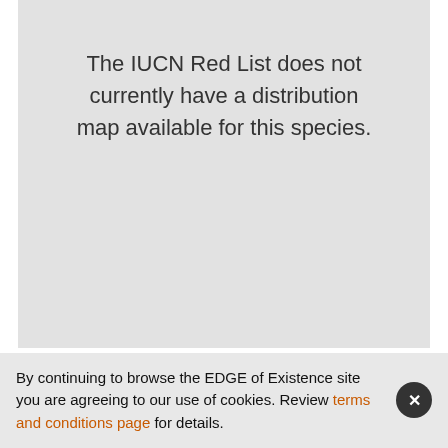[Figure (other): Gray placeholder box indicating no distribution map is available, with centered text reading: The IUCN Red List does not currently have a distribution map available for this species.]
Source: BirdLife International and Handbook of the Birds of the
By continuing to browse the EDGE of Existence site you are agreeing to our use of cookies. Review terms and conditions page for details.